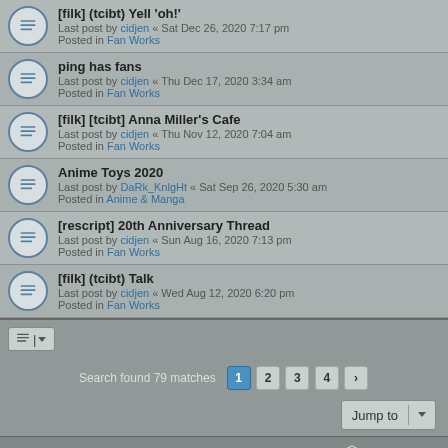[filk] (tcibt) Yell 'oh!' — Last post by cidjen « Sat Dec 26, 2020 7:17 pm — Posted in Fan Works
ping has fans — Last post by cidjen « Thu Dec 17, 2020 3:34 am — Posted in Fan Works
[filk] [tcibt] Anna Miller's Cafe — Last post by cidjen « Thu Nov 12, 2020 7:04 am — Posted in Fan Works
Anime Toys 2020 — Last post by DaRk_KnlgHt « Sat Sep 26, 2020 5:30 am — Posted in Anime & Manga
[rescript] 20th Anniversary Thread — Last post by cidjen « Sun Aug 16, 2020 7:13 pm — Posted in Fan Works
[filk] (tcibt) Talk — Last post by cidjen « Wed Aug 12, 2020 6:20 pm — Posted in Fan Works
Search found 79 matches  1  2  3  4  >
MegaTokyo  ‹  Board index    Contact us    The team
Powered by phpBB® Forum Software © phpBB Limited